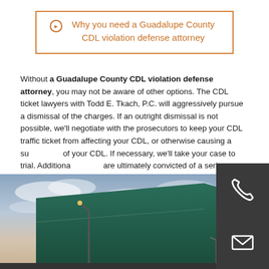Why you need a Guadalupe County CDL violation defense attorney
Without a Guadalupe County CDL violation defense attorney, you may not be aware of other options. The CDL ticket lawyers with Todd E. Tkach, P.C. will aggressively pursue a dismissal of the charges. If an outright dismissal is not possible, we'll negotiate with the prosecutors to keep your CDL traffic ticket from affecting your CDL, or otherwise causing a suspension of your CDL. If necessary, we'll take your case to trial. Additionally, if you are ultimately convicted of a serious violation, we may be able to appeal your conviction.
[Figure (photo): Photo of a large truck/semi-trailer with a street lamp against a cloudy sky at dusk]
[Figure (infographic): Dark contact icon blocks: phone handset icon and envelope/mail icon]